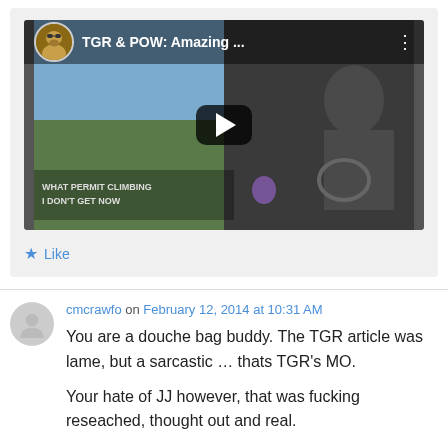[Figure (screenshot): YouTube video thumbnail showing 'TGR & POW: Amazing ...' with a play button overlay and a dog avatar in the top left corner. The video shows a person driving.]
Like
cmcrawfo on February 12, 2014 at 10:31 AM
You are a douche bag buddy. The TGR article was lame, but a sarcastic … thats TGR's MO.

Your hate of JJ however, that was fucking reseached, thought out and real.